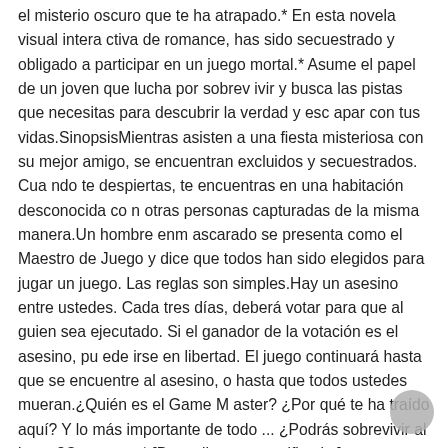el misterio oscuro que te ha atrapado.* En esta novela visual interactiva de romance, has sido secuestrado y obligado a participar en un juego mortal.* Asume el papel de un joven que lucha por sobrevivir y busca las pistas que necesitas para descubrir la verdad y escapar con tus vidas.SinopsisMientras asisten a una fiesta misteriosa con su mejor amigo, se encuentran excluidos y secuestrados. Cuando te despiertas, te encuentras en una habitación desconocida con otras personas capturadas de la misma manera.Un hombre enmascarado se presenta como el Maestro de Juego y dice que todos han sido elegidos para jugar un juego. Las reglas son simples.Hay un asesino entre ustedes. Cada tres días, deberá votar para que alguien sea ejecutado. Si el ganador de la votación es el asesino, puede irse en libertad. El juego continuará hasta que se encuentre al asesino, o hasta que todos ustedes mueran.¿Quién es el Game Master? ¿Por qué te ha traído aquí? Y lo más importante de todo ... ¿Podrás sobrevivir al juego?Caracteres* [Doncella auto-sacrificada] HannahTranquila y considerada, esta joven siempre trata de pon